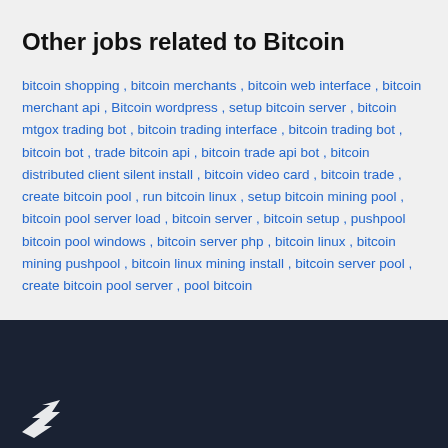Other jobs related to Bitcoin
bitcoin shopping , bitcoin merchants , bitcoin web interface , bitcoin merchant api , Bitcoin wordpress , setup bitcoin server , bitcoin mtgox trading bot , bitcoin trading interface , bitcoin trading bot , bitcoin bot , trade bitcoin api , bitcoin trade api bot , bitcoin distributed client silent install , bitcoin video card , bitcoin trade , create bitcoin pool , run bitcoin linux , setup bitcoin mining pool , bitcoin pool server load , bitcoin server , bitcoin setup , pushpool bitcoin pool windows , bitcoin server php , bitcoin linux , bitcoin mining pushpool , bitcoin linux mining install , bitcoin server pool , create bitcoin pool server , pool bitcoin
[Figure (logo): White bird/arrow logo on dark navy background footer]